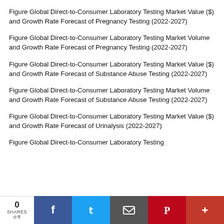Figure Global Direct-to-Consumer Laboratory Testing Market Value ($) and Growth Rate Forecast of Pregnancy Testing (2022-2027)
Figure Global Direct-to-Consumer Laboratory Testing Market Volume and Growth Rate Forecast of Pregnancy Testing (2022-2027)
Figure Global Direct-to-Consumer Laboratory Testing Market Value ($) and Growth Rate Forecast of Substance Abuse Testing (2022-2027)
Figure Global Direct-to-Consumer Laboratory Testing Market Volume and Growth Rate Forecast of Substance Abuse Testing (2022-2027)
Figure Global Direct-to-Consumer Laboratory Testing Market Value ($) and Growth Rate Forecast of Urinalysis (2022-2027)
Figure Global Direct-to-Consumer Laboratory Testing